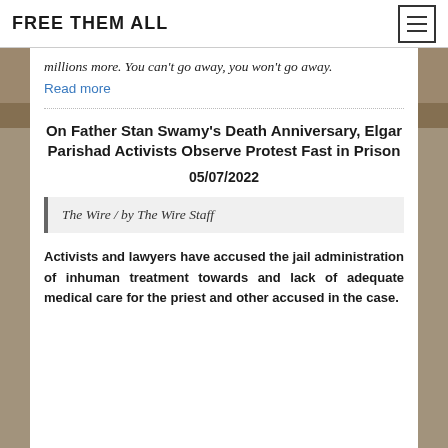FREE THEM ALL
millions more. You can't go away, you won't go away.
Read more
On Father Stan Swamy's Death Anniversary, Elgar Parishad Activists Observe Protest Fast in Prison
05/07/2022
The Wire / by The Wire Staff
Activists and lawyers have accused the jail administration of inhuman treatment towards and lack of adequate medical care for the priest and other accused in the case.